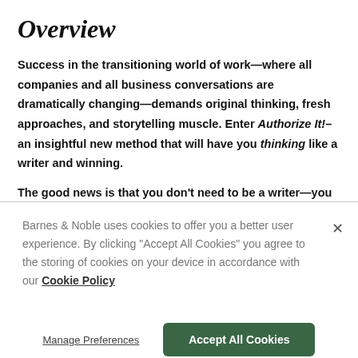Overview
Success in the transitioning world of work—where all companies and all business conversations are dramatically changing—demands original thinking, fresh approaches, and storytelling muscle. Enter Authorize It!—an insightful new method that will have you thinking like a writer and winning.
The good news is that you don't need to be a writer—you just need to think like one. Media executive and author Deborah Burns shares her five breakthrough storytelling lessons and their
Barnes & Noble uses cookies to offer you a better user experience. By clicking "Accept All Cookies" you agree to the storing of cookies on your device in accordance with our Cookie Policy
Manage Preferences
Accept All Cookies